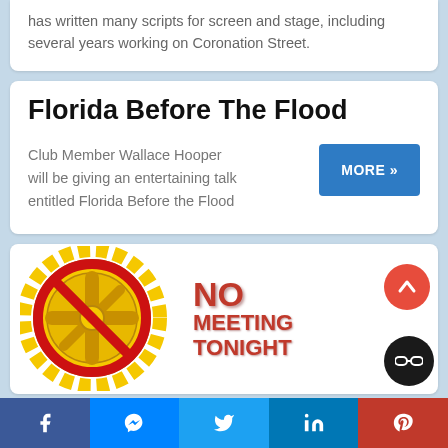has written many scripts for screen and stage, including several years working on Coronation Street.
Florida Before The Flood
Club Member Wallace Hooper will be giving an entertaining talk entitled Florida Before the Flood
[Figure (illustration): Rotary club gear logo with a red no-symbol over it, next to bold red text reading NO MEETING TONIGHT]
Social share bar with Facebook, Messenger, Twitter, LinkedIn, Pinterest icons